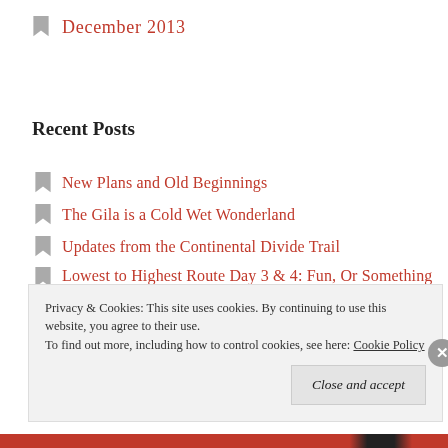December 2013
Recent Posts
New Plans and Old Beginnings
The Gila is a Cold Wet Wonderland
Updates from the Continental Divide Trail
Lowest to Highest Route Day 3 & 4: Fun, Or Something Like It
Lowest to Highest Route Day 3: If Not For This
Privacy & Cookies: This site uses cookies. By continuing to use this website, you agree to their use. To find out more, including how to control cookies, see here: Cookie Policy
Close and accept